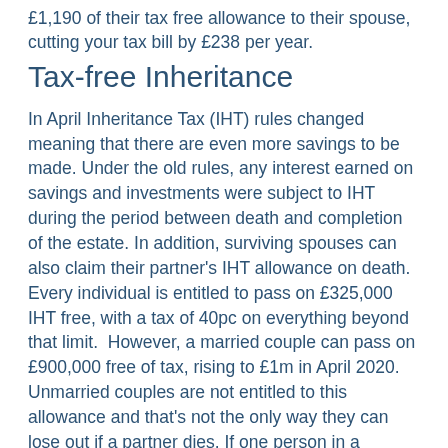£1,190 of their tax free allowance to their spouse, cutting your tax bill by £238 per year.
Tax-free Inheritance
In April Inheritance Tax (IHT) rules changed meaning that there are even more savings to be made. Under the old rules, any interest earned on savings and investments were subject to IHT during the period between death and completion of the estate. In addition, surviving spouses can also claim their partner's IHT allowance on death. Every individual is entitled to pass on £325,000 IHT free, with a tax of 40pc on everything beyond that limit.  However, a married couple can pass on £900,000 free of tax, rising to £1m in April 2020. Unmarried couples are not entitled to this allowance and that's not the only way they can lose out if a partner dies. If one person in a married couple dies without leaving a will, their spouse automatically inherits all the deceased's assets. Not so with co-habitors. Unmarried couples are not afforded the